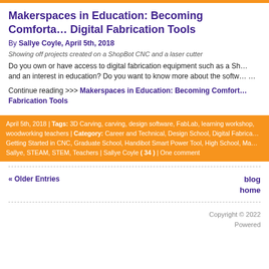Makerspaces in Education: Becoming Comfortable with Digital Fabrication Tools
By Sallye Coyle, April 5th, 2018
Showing off projects created on a ShopBot CNC and a laser cutter
Do you own or have access to digital fabrication equipment such as a ShopBot CNC and an interest in education? Do you want to know more about the softw... ...
Continue reading >>> Makerspaces in Education: Becoming Comfortable with Digital Fabrication Tools
April 5th, 2018 | Tags: 3D Carving, carving, design software, FabLab, learning workshop, woodworking teachers | Category: Career and Technical, Design School, Digital Fabrication, Getting Started in CNC, Graduate School, Handibot Smart Power Tool, High School, Makerspaces, Sallye, STEAM, STEM, Teachers | Sallye Coyle ( 34 ) | One comment
« Older Entries
blog
home
Copyright © 2022
Powered